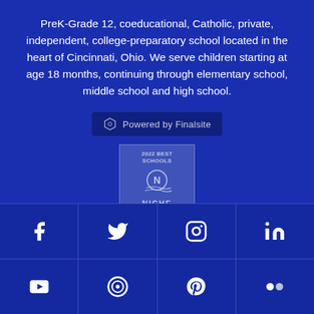PreK-Grade 12, coeducational, Catholic, private, independent, college-preparatory school located in the heart of Cincinnati, Ohio. We serve children starting at age 18 months, continuing through elementary school, middle school and high school.
[Figure (logo): Powered by Finalsite badge with hexagon icon]
[Figure (logo): 2022 Best Schools Niche badge with N logo and wave lines]
[Figure (infographic): Social media icon grid with 8 icons: Facebook, Twitter, Instagram, LinkedIn (top row), YouTube, target/Issuu, Pinterest, Flickr (bottom row)]